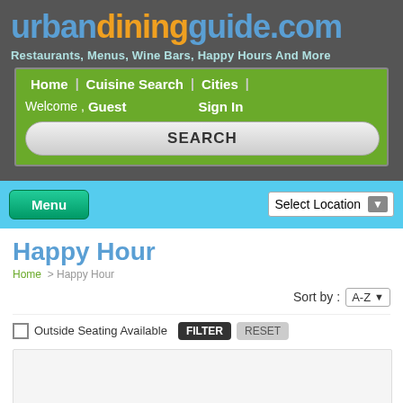urbandiningguide.com
Restaurants, Menus, Wine Bars, Happy Hours And More
Home | Cuisine Search | Cities | Welcome , Guest   Sign In
SEARCH
Menu   Select Location
Happy Hour
Home > Happy Hour
Sort by : A-Z
Outside Seating Available  FILTER  RESET